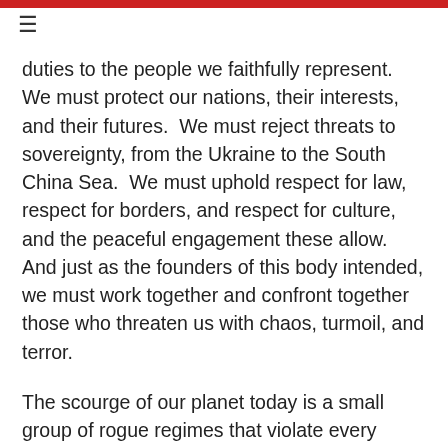≡
duties to the people we faithfully represent.  We must protect our nations, their interests, and their futures.  We must reject threats to sovereignty, from the Ukraine to the South China Sea.  We must uphold respect for law, respect for borders, and respect for culture, and the peaceful engagement these allow.  And just as the founders of this body intended, we must work together and confront together those who threaten us with chaos, turmoil, and terror.
The scourge of our planet today is a small group of rogue regimes that violate every principle on which the United Nations is based.  They respect neither their own citizens nor the sovereign rights of their countries.
If the righteous many do not confront the wicked few, then